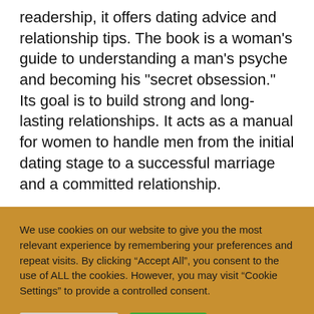readership, it offers dating advice and relationship tips. The book is a woman's guide to understanding a man's psyche and becoming his "secret obsession." Its goal is to build strong and long-lasting relationships. It acts as a manual for women to handle men from the initial dating stage to a successful marriage and a committed relationship.
We use cookies on our website to give you the most relevant experience by remembering your preferences and repeat visits. By clicking “Accept All”, you consent to the use of ALL the cookies. However, you may visit “Cookie Settings” to provide a controlled consent.